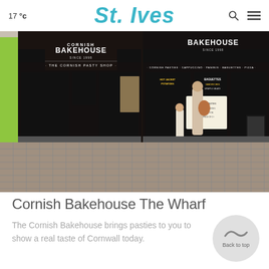17°c  St. Ives
[Figure (photo): Exterior photo of Cornish Bakehouse on The Wharf, St Ives. A woman and child are browsing the shop front with dark signage reading BAKEHOUSE, THE CORNISH PASTY SHOP, CORNISH PASTIES, CAPPUCCINO, PANINIS, BAGUETTES, PIZZA. Cobblestone street in foreground.]
Cornish Bakehouse The Wharf
The Cornish Bakehouse brings pasties to you to show a real taste of Cornwall today.